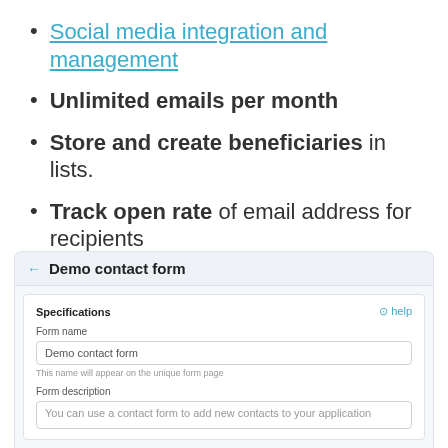Social media integration and management
Unlimited emails per month
Store and create beneficiaries in lists.
Track open rate of email address for recipients
[Figure (screenshot): Screenshot of a 'Demo contact form' interface showing a form specifications panel with fields for Form name (value: Demo contact form) and Form description (placeholder: You can use a contact form to add new contacts to your application), with a help link and back arrow in the header.]